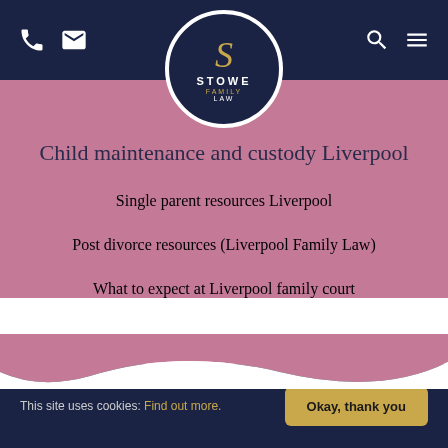Stowe Family Law — navigation header with phone, mail, search, menu icons and logo
Child maintenance and custody Liverpool
Single parent resources Liverpool
Post divorce resources (Liverpool Family Law)
What to expect at Liverpool family court
This site uses cookies: Find out more. Okay, thank you